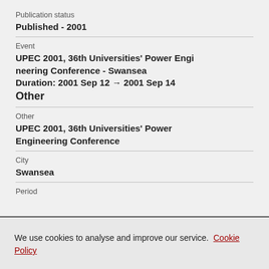Publication status
Published - 2001
Event
UPEC 2001, 36th Universities' Power Engineering Conference - Swansea
Duration: 2001 Sep 12 → 2001 Sep 14
Other
Other
UPEC 2001, 36th Universities' Power Engineering Conference
City
Swansea
Period
We use cookies to analyse and improve our service. Cookie Policy